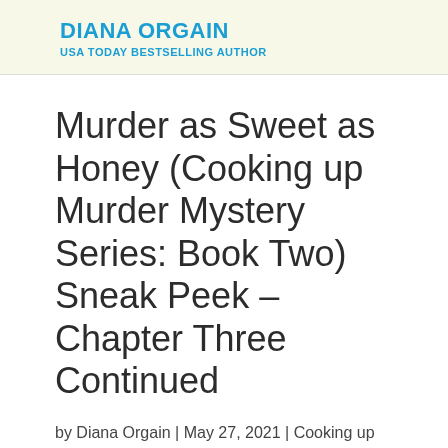DIANA ORGAIN
USA TODAY BESTSELLING AUTHOR
Murder as Sweet as Honey (Cooking up Murder Mystery Series: Book Two) Sneak Peek – Chapter Three Continued
by Diana Orgain | May 27, 2021 | Cooking up Murder, Sneak Peek | 0 comments